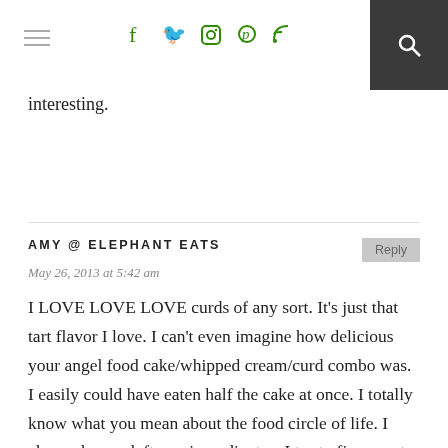≡  f  t  [instagram]  p  [rss]  [search]
interesting.
AMY @ ELEPHANT EATS
May 26, 2013 at 5:42 am
I LOVE LOVE LOVE curds of any sort. It's just that tart flavor I love. I can't even imagine how delicious your angel food cake/whipped cream/curd combo was. I easily could have eaten half the cake at once. I totally know what you mean about the food circle of life. I always have a leftover ingredient so I try to figure out a recipe to use it...but in the process I have to buy a new ingredient. And then I have leftovers of the new ingredient and have to